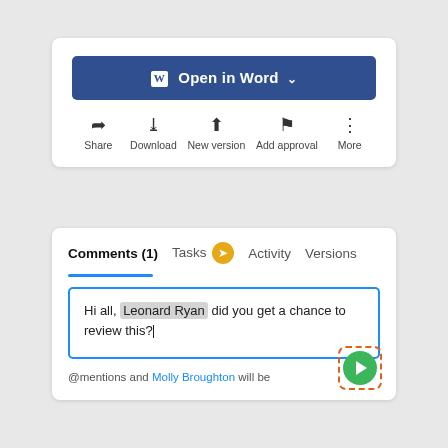[Figure (screenshot): UI card with 'Open in Word' button and toolbar icons: Share, Download, New version, Add approval, More]
[Figure (screenshot): UI card with tabs: Comments (1), Tasks (with notification badge), Activity, Versions. A comment input box contains 'Hi all, Leonard Ryan did you get a chance to review this?' with a cursor. Below shows '@mentions and Molly Broughton will be...' and a dashed-orange bordered send button with green circle arrow icon.]